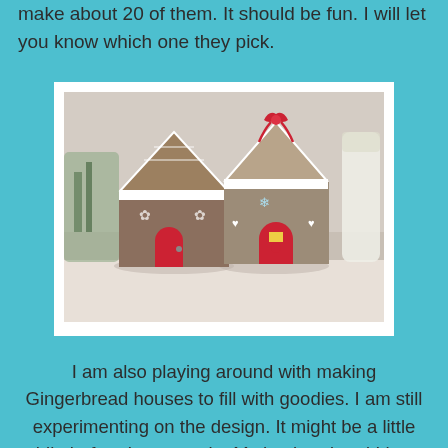make about 20 of them.  It should be fun.  I will let you know which one they pick.
[Figure (photo): Two handmade gingerbread house-shaped paper/cardboard boxes decorated with white lace trim, red doors, and holiday decorations. One has a red bow on top. They are sitting on a white surface with craft supplies visible in the background.]
I am also playing around with making Gingerbread houses to fill with goodies.  I am still experimenting on the design.  It might be a little while before I post again.   My husband and I have bought a new house!  We have been living in a condo and have loved it but it has really become too small.  Plus as I get closer to retirement, I realize I would like to do some